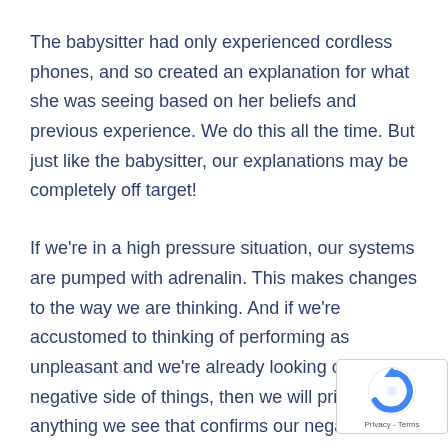The babysitter had only experienced cordless phones, and so created an explanation for what she was seeing based on her beliefs and previous experience. We do this all the time. But just like the babysitter, our explanations may be completely off target!
If we're in a high pressure situation, our systems are pumped with adrenalin. This makes changes to the way we are thinking. And if we're accustomed to thinking of performing as unpleasant and we're already looking on the negative side of things, then we will prioritise anything we see that confirms our negative viewpoint, and discount any contradictory (positive) information.